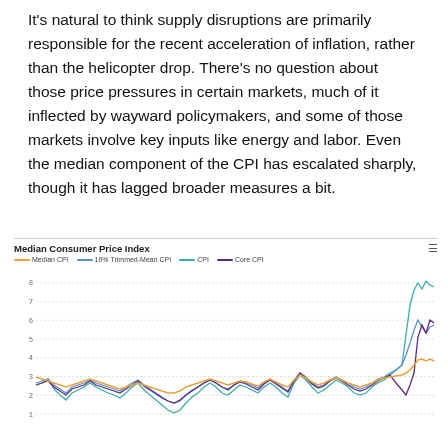It's natural to think supply disruptions are primarily responsible for the recent acceleration of inflation, rather than the helicopter drop. There's no question about those price pressures in certain markets, much of it inflected by wayward policymakers, and some of those markets involve key inputs like energy and labor. Even the median component of the CPI has escalated sharply, though it has lagged broader measures a bit.
[Figure (continuous-plot): Line chart showing Median CPI (orange), 16% Trimmed-Mean CPI (blue), CPI (teal/green), and Core CPI (dark purple) from roughly 2000 to 2022. Lines hover near 2% for most of the period, then spike sharply upward at the far right (2021-2022), with CPI reaching near 7, 16% Trimmed-Mean and Core CPI reaching near 5, and Median CPI reaching near 3.5.]